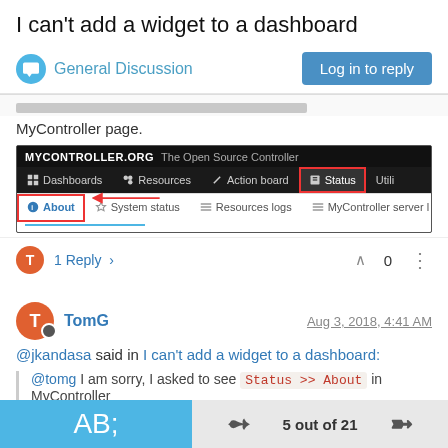I can't add a widget to a dashboard
General Discussion
MyController page.
[Figure (screenshot): Screenshot of MyController.org navigation showing Status menu highlighted in red box and About submenu item highlighted with arrow pointing to it]
1 Reply >  ∧ 0 ⋮
TomG  Aug 3, 2018, 4:41 AM
@jkandasa said in I can't add a widget to a dashboard:
@tomg I am sorry, I asked to see Status >> About in MyController page.
5 out of 21